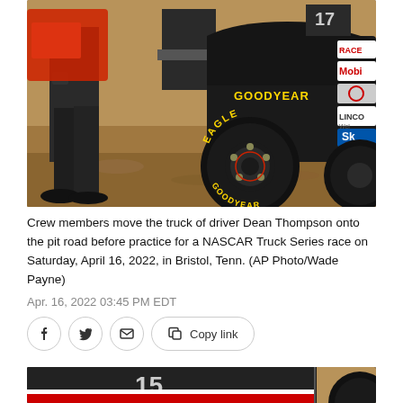[Figure (photo): Crew members pushing a NASCAR truck with Goodyear Eagle tires on a dirt pit road. People in dark coveralls are visible, with the close-up showing the Goodyear Eagle tire and various sponsor stickers including Mobil and Lincoln Welders on the car.]
Crew members move the truck of driver Dean Thompson onto the pit road before practice for a NASCAR Truck Series race on Saturday, April 16, 2022, in Bristol, Tenn. (AP Photo/Wade Payne)
Apr. 16, 2022 03:45 PM EDT
[Figure (photo): Partial view of a NASCAR truck on a dirt track, showing the front portion and a Goodyear tire. The bottom of the image is cropped.]